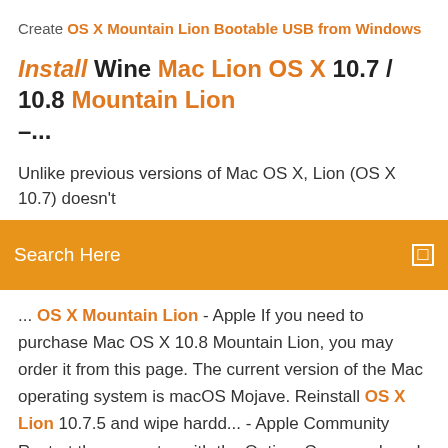Create OS X Mountain Lion Bootable USB from Windows
Install Wine Mac Lion OS X 10.7 / 10.8 Mountain Lion –...
Unlike previous versions of Mac OS X, Lion (OS X 10.7) doesn't
Search Here
... OS X Mountain Lion - Apple If you need to purchase Mac OS X 10.8 Mountain Lion, you may order it from this page. The current version of the Mac operating system is macOS Mojave. Reinstall OS X Lion 10.7.5 and wipe hardd... - Apple Community Restart the computer with the Option, Command, and R keys held down, use the Disk Utility to erase the partition with Mac OS X on it, and install a fresh OS. How To Install OS X Mountain Lion On A PC [Hackintosh Guide] Once done, hit Apply to prepare your hard disk for Mac OS X Mountain Lion. Once done, you will return to the Mountain Lion Installer and the newly